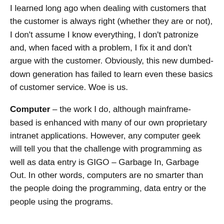I learned long ago when dealing with customers that the customer is always right (whether they are or not), I don't assume I know everything, I don't patronize and, when faced with a problem, I fix it and don't argue with the customer. Obviously, this new dumbed-down generation has failed to learn even these basics of customer service. Woe is us.
Computer – the work I do, although mainframe-based is enhanced with many of our own proprietary intranet applications. However, any computer geek will tell you that the challenge with programming as well as data entry is GIGO – Garbage In, Garbage Out. In other words, computers are no smarter than the people doing the programming, data entry or the people using the programs.